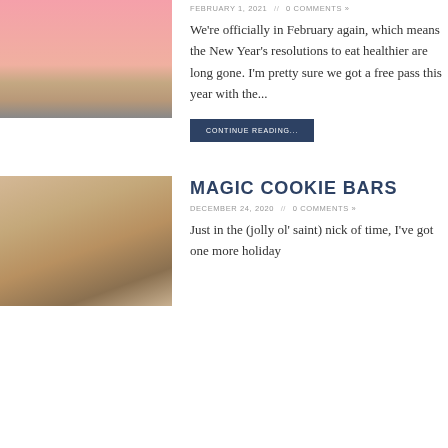[Figure (photo): Close-up photo of a layered dessert bar with pink top layer and brown/tan bottom layer]
FEBRUARY 1, 2021 // 0 COMMENTS »
We're officially in February again, which means the New Year's resolutions to eat healthier are long gone. I'm pretty sure we got a free pass this year with the...
CONTINUE READING...
[Figure (photo): Close-up photo of a beige/tan magic cookie bar]
MAGIC COOKIE BARS
DECEMBER 24, 2020 // 0 COMMENTS »
Just in the (jolly ol' saint) nick of time, I've got one more holiday